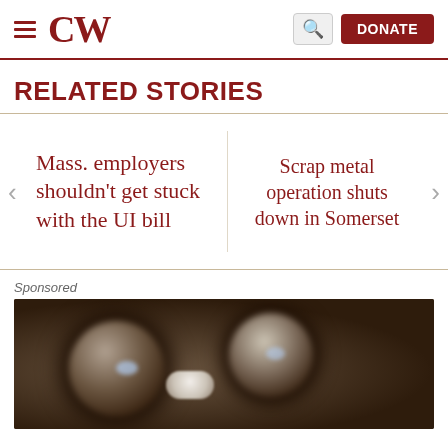CW — DONATE
RELATED STORIES
Mass. employers shouldn't get stuck with the UI bill
Scrap metal operation shuts down in Somerset
Sponsored
[Figure (photo): Blurred close-up photograph of dark circular objects (likely buttons or bottle caps) on a brown background with a white pill-shaped object in the center]